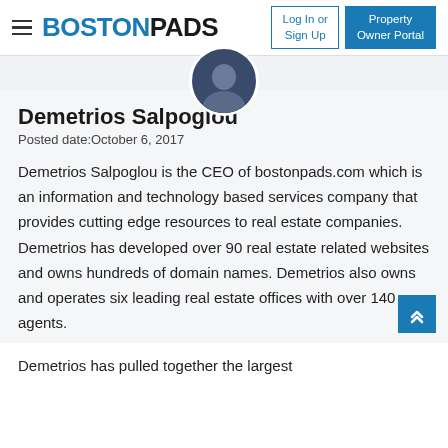BOSTONPADS — Log In or Sign Up | Property Owner Portal
[Figure (photo): Partial circular profile photo of Demetrios Salpoglou at the top of the content area]
Demetrios Salpoglou
Posted date:October 6, 2017
Demetrios Salpoglou is the CEO of bostonpads.com which is an information and technology based services company that provides cutting edge resources to real estate companies. Demetrios has developed over 90 real estate related websites and owns hundreds of domain names. Demetrios also owns and operates six leading real estate offices with over 140 agents.
Demetrios has pulled together the largest